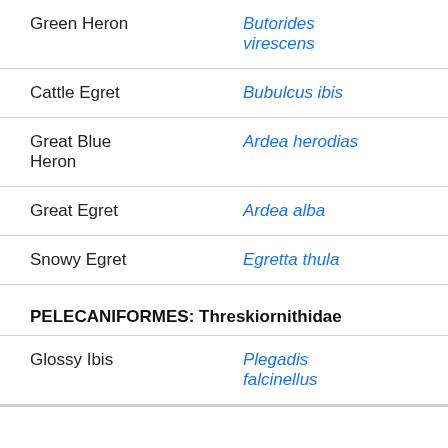| Common Name | Scientific Name |
| --- | --- |
| Green Heron | Butorides virescens |
| Cattle Egret | Bubulcus ibis |
| Great Blue Heron | Ardea herodias |
| Great Egret | Ardea alba |
| Snowy Egret | Egretta thula |
PELECANIFORMES: Threskiornithidae
| Common Name | Scientific Name |
| --- | --- |
| Glossy Ibis | Plegadis falcinellus |